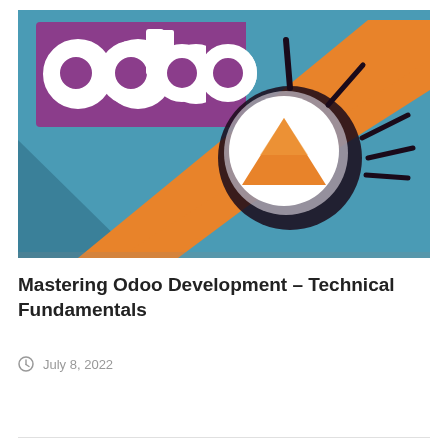[Figure (illustration): Odoo book/course cover image showing the Odoo logo on a purple background in the top-left, and a magnifying glass with an orange downward-pointing triangle/arrow icon in the center-right, against a teal/blue geometric background with orange diagonal stripes.]
Mastering Odoo Development – Technical Fundamentals
July 8, 2022